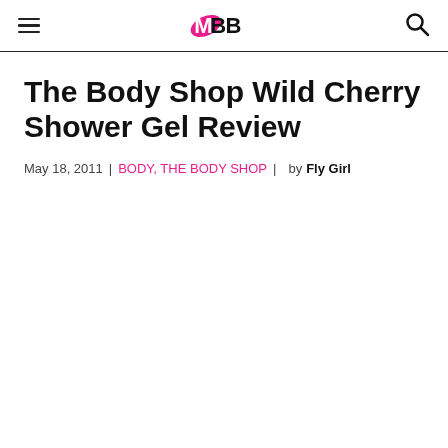IMBB logo, hamburger menu, search icon
The Body Shop Wild Cherry Shower Gel Review
May 18, 2011  |  BODY, THE BODY SHOP  |  by Fly Girl